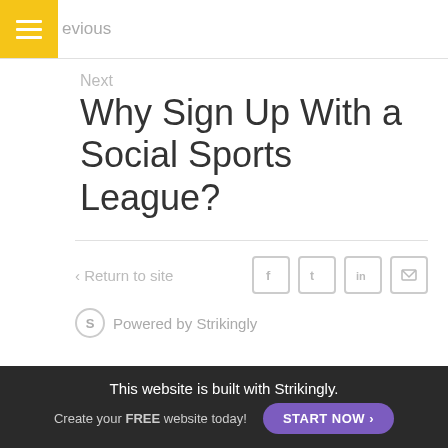Previous
Next
Why Sign Up With a Social Sports League?
< Return to site
Powered by Strikingly
[Figure (screenshot): Purple banner: CREATE A SITE WITH strikingly]
This website is built with Strikingly.
Create your FREE website today!  START NOW >